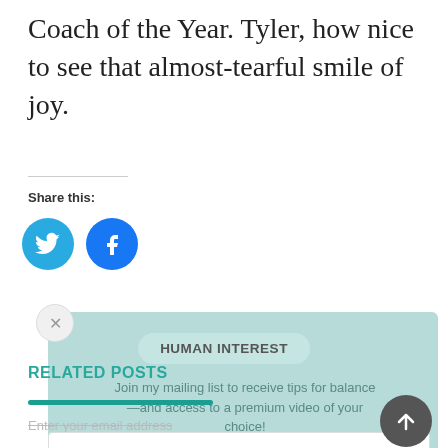Coach of the Year. Tyler, how nice to see that almost-tearful smile of joy.
Share this:
[Figure (illustration): Two circular social media share buttons: Twitter (blue bird icon) and Facebook (blue f icon)]
[Figure (screenshot): Popup overlay box with light teal background, close X button, tag reading 'HUMAN INTEREST', and text 'Join my mailing list to receive tips for balance—and access to a premium video of your choice!']
RELATED POSTS
Enter your email address